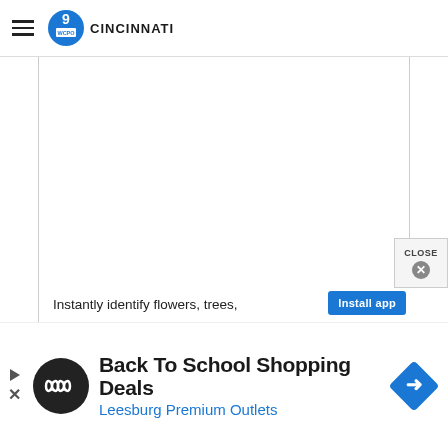≡  WCPO 9 CINCINNATI
[Figure (screenshot): White blank content card area — main article body placeholder]
Instantly identify flowers, trees,
[Figure (screenshot): CLOSE button with X circle overlay, and Install app button in blue]
[Figure (advertisement): Back To School Shopping Deals — Leesburg Premium Outlets advertisement banner with infinity logo and blue diamond arrow badge]